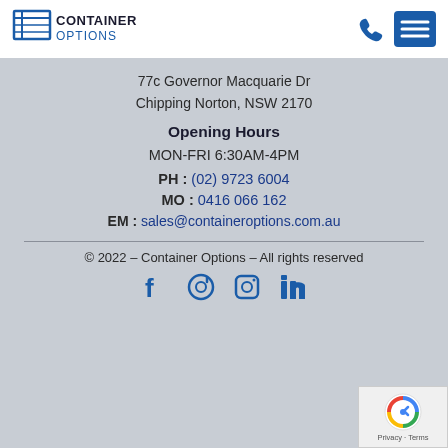[Figure (logo): Container Options logo with stylized container icon and text]
77c Governor Macquarie Dr
Chipping Norton, NSW 2170
Opening Hours
MON-FRI 6:30AM-4PM
PH : (02) 9723 6004
MO : 0416 066 162
EM : sales@containeroptions.com.au
© 2022 - Container Options - All rights reserved
[Figure (illustration): Social media icons: Facebook, Pinterest, Instagram, LinkedIn]
[Figure (logo): Google reCAPTCHA badge with Privacy and Terms links]